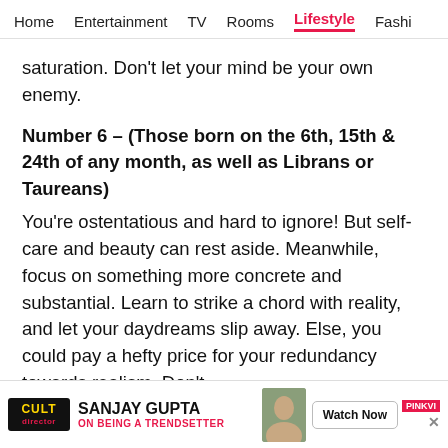Home   Entertainment   TV   Rooms   Lifestyle   Fashi
saturation. Don't let your mind be your own enemy.
Number 6 – (Those born on the 6th, 15th & 24th of any month, as well as Librans or Taureans)
You're ostentatious and hard to ignore! But self-care and beauty can rest aside. Meanwhile, focus on something more concrete and substantial. Learn to strike a chord with reality, and let your daydreams slip away. Else, you could pay a hefty price for your redundancy towards realism. Don't
[Figure (infographic): Social sharing icons: WhatsApp (green), Facebook (blue), Twitter (blue), more/chat (pink)]
[Figure (infographic): Advertisement banner: Cult Director logo, Sanjay Gupta ON BEING A TRENDSETTER, Watch Now button, Pinkvilla branding]